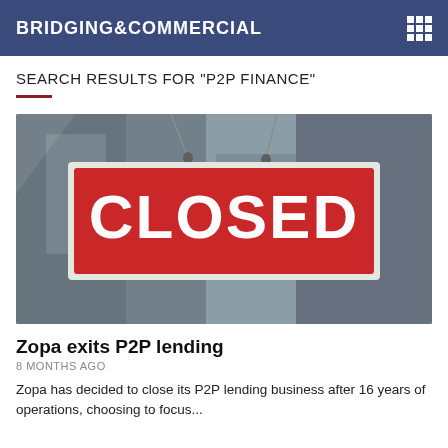BRIDGING&COMMERCIAL
SEARCH RESULTS FOR "P2P FINANCE"
[Figure (photo): A red CLOSED sign hanging in a shop window, photographed through glass with a blurry urban background.]
Zopa exits P2P lending
8 MONTHS AGO
Zopa has decided to close its P2P lending business after 16 years of operations, choosing to focus...